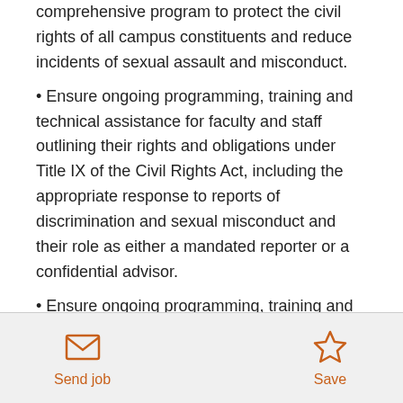comprehensive program to protect the civil rights of all campus constituents and reduce incidents of sexual assault and misconduct.
• Ensure ongoing programming, training and technical assistance for faculty and staff outlining their rights and obligations under Title IX of the Civil Rights Act, including the appropriate response to reports of discrimination and sexual misconduct and their role as either a mandated reporter or a confidential advisor.
• Ensure ongoing programming, training and consultation for all students outlining their rights and